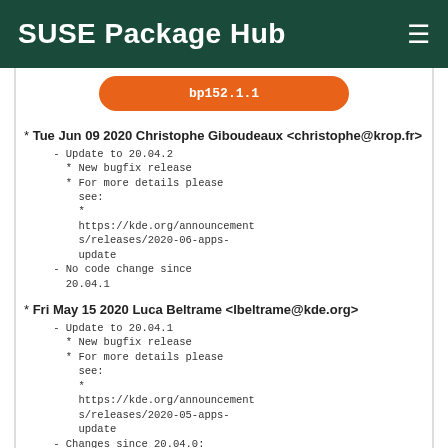SUSE Package Hub
[Figure (other): Orange rounded button with text 'bp152.1.1']
* Tue Jun 09 2020 Christophe Giboudeaux <christophe@krop.fr>
    - Update to 20.04.2
      * New bugfix release
      * For more details please see:
        *
        https://kde.org/announcements/releases/2020-06-apps-update
    - No code change since 20.04.1
* Fri May 15 2020 Luca Beltrame <lbeltrame@kde.org>
    - Update to 20.04.1
      * New bugfix release
      * For more details please see:
        *
        https://kde.org/announcements/releases/2020-05-apps-update
    - Changes since 20.04.0:
      * Fix blurry icons by adding UseHighDpiPixmaps flag
* Thu Apr 23 2020 Luca Beltrame